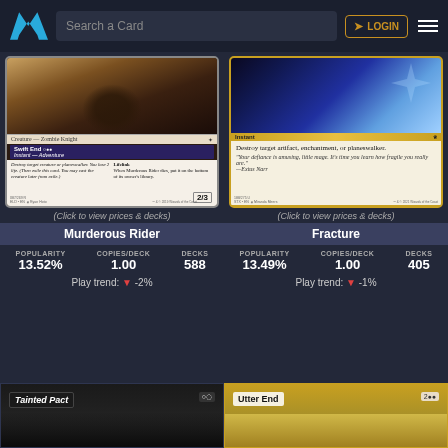Search a Card | LOGIN
[Figure (screenshot): Magic: The Gathering card - Murderous Rider, Creature – Zombie Knight, Swift End Instant Adventure, 2/3, ELD set]
(Click to view prices & decks)
Murderous Rider
| POPULARITY | COPIES/DECK | DECKS |
| --- | --- | --- |
| 13.52% | 1.00 | 588 |
Play trend: ↓ -2%
[Figure (screenshot): Magic: The Gathering card - Fracture, Instant, Destroy target artifact, enchantment, or planeswalker. STX set]
(Click to view prices & decks)
Fracture
| POPULARITY | COPIES/DECK | DECKS |
| --- | --- | --- |
| 13.49% | 1.00 | 405 |
Play trend: ↓ -1%
[Figure (screenshot): Partial card - Tainted Pact (bottom of page, cropped)]
[Figure (screenshot): Partial card - Utter End (bottom of page, cropped)]